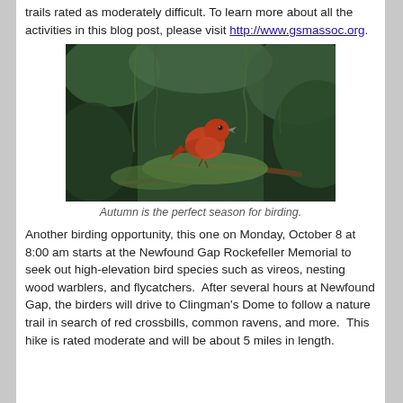trails rated as moderately difficult. To learn more about all the activities in this blog post, please visit http://www.gsmassoc.org.
[Figure (photo): A red crossbill bird perched on a conifer branch with green foliage in the background.]
Autumn is the perfect season for birding.
Another birding opportunity, this one on Monday, October 8 at 8:00 am starts at the Newfound Gap Rockefeller Memorial to seek out high-elevation bird species such as vireos, nesting wood warblers, and flycatchers. After several hours at Newfound Gap, the birders will drive to Clingman's Dome to follow a nature trail in search of red crossbills, common ravens, and more. This hike is rated moderate and will be about 5 miles in length.